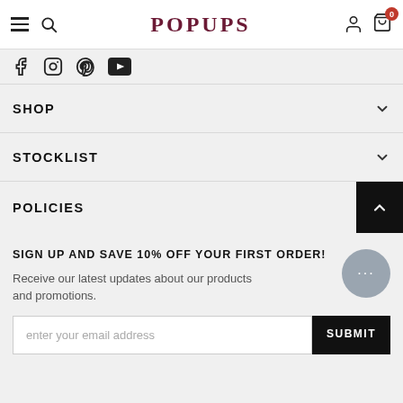POPUPS
[Figure (logo): Social media icons: Facebook, Instagram, Pinterest, YouTube]
SHOP
STOCKLIST
POLICIES
SIGN UP AND SAVE 10% OFF YOUR FIRST ORDER!
Receive our latest updates about our products and promotions.
enter your email address